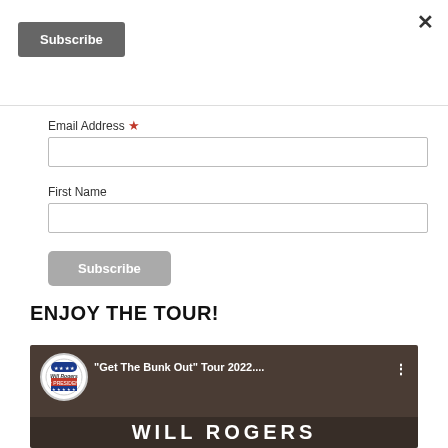×
Subscribe
Email Address *
First Name
Subscribe
ENJOY THE TOUR!
[Figure (screenshot): Video thumbnail showing 'Get The Bunk Out' Tour 2022 with Will Rogers for President badge and text 'WILL ROGERS' at bottom]